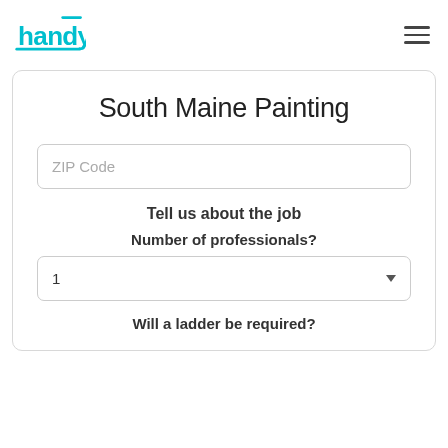[Figure (logo): Handy logo in cyan/turquoise color with stylized text]
South Maine Painting
ZIP Code
Tell us about the job
Number of professionals?
1
Will a ladder be required?